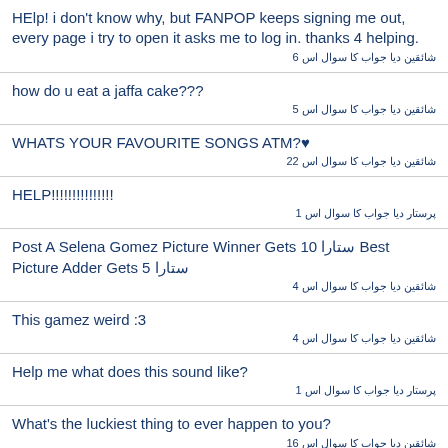HElp! i don't know why, but FANPOP keeps signing me out, every page i try to open it asks me to log in. thanks 4 helping.
شائقین دیا جواب کا سوال اس 6
how do u eat a jaffa cake???
شائقین دیا جواب کا سوال اس 5
WHATS YOUR FAVOURITE SONGS ATM?♥
شائقین دیا جواب کا سوال اس 22
HELP!!!!!!!!!!!!!!!
پرستار دیا جواب کا سوال اس 1
Post A Selena Gomez Picture Winner Gets 10 ستارا Best Picture Adder Gets 5 ستارا
شائقین دیا جواب کا سوال اس 4
This gamez weird :3
شائقین دیا جواب کا سوال اس 4
Help me what does this sound like?
پرستار دیا جواب کا سوال اس 1
What's the luckiest thing to ever happen to you?
شائقین دیا جواب کا سوال اس 16
least fav